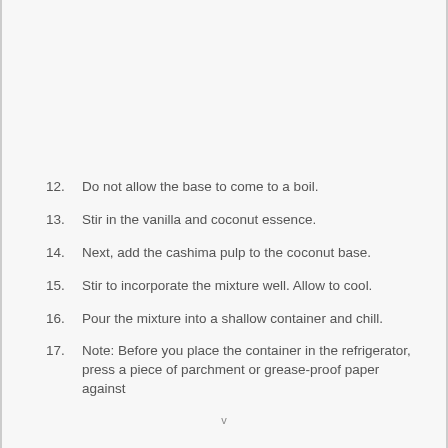12. Do not allow the base to come to a boil.
13. Stir in the vanilla and coconut essence.
14. Next, add the cashima pulp to the coconut base.
15. Stir to incorporate the mixture well. Allow to cool.
16. Pour the mixture into a shallow container and chill.
17. Note: Before you place the container in the refrigerator, press a piece of parchment or grease-proof paper against
v